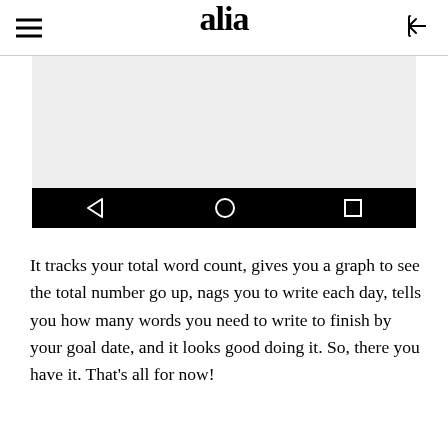alia
[Figure (screenshot): Mobile app screenshot showing a light gray content area above an Android navigation bar with back triangle, home circle, and recents square icons on black background]
It tracks your total word count, gives you a graph to see the total number go up, nags you to write each day, tells you how many words you need to write to finish by your goal date, and it looks good doing it. So, there you have it. That's all for now!